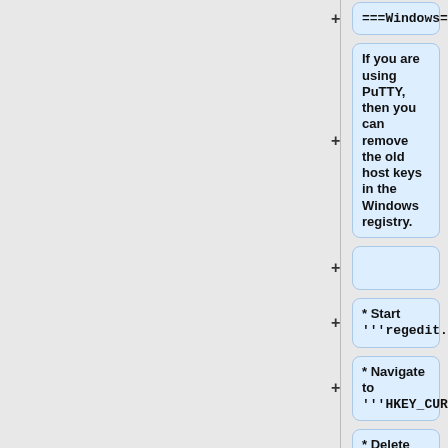===Windows===
If you are using PuTTY, then you can remove the old host keys in the Windows registry.
* Start '''regedit.exe'''
* Navigate to '''HKEY_CURRENT_USER\Software\SimonTatham\PuTTY\SshHostKeys'''
* Delete the